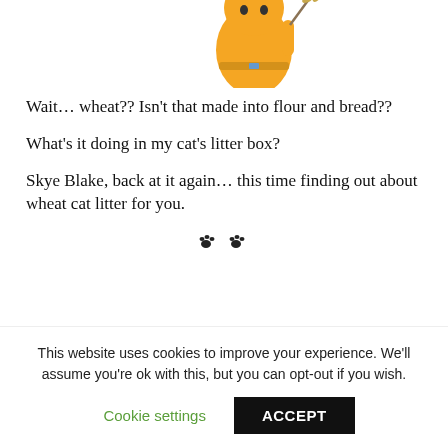[Figure (illustration): Partial illustration of an animated yellow cat character holding a wheat stalk, cropped at top of page]
Wait… wheat?? Isn't that made into flour and bread??
What's it doing in my cat's litter box?
Skye Blake, back at it again… this time finding out about wheat cat litter for you.
[Figure (illustration): Two small paw print icons used as a decorative divider]
This website uses cookies to improve your experience. We'll assume you're ok with this, but you can opt-out if you wish.
Cookie settings    ACCEPT